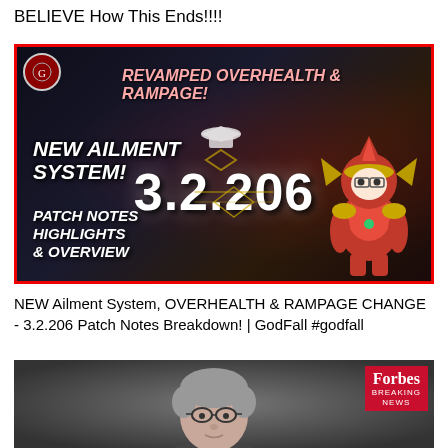BELIEVE How This Ends!!!!
[Figure (screenshot): YouTube video thumbnail for GodFall patch 3.2.206 featuring text: NEW AILMENT SYSTEM!, REVAMPED OVERHEALTH & RAMPAGE!, 3.2.206, PATCH NOTES HIGHLIGHTS & OVERVIEW. Dark background with a red-armored chibi character on the right and a channel logo on the top left.]
NEW Ailment System, OVERHEALTH & RAMPAGE CHANGE - 3.2.206 Patch Notes Breakdown! | GodFall #godfall
[Figure (screenshot): YouTube video thumbnail showing a person (older individual with gray hair and glasses) against a dark background, with a Forbes Breaking News badge in the top right corner.]